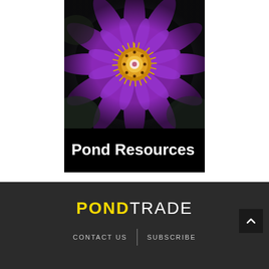[Figure (photo): Close-up photo of a purple water lily / lotus flower with bright yellow-gold starburst center stamens on a dark background]
Pond Resources
PONDTRADE | CONTACT US | SUBSCRIBE